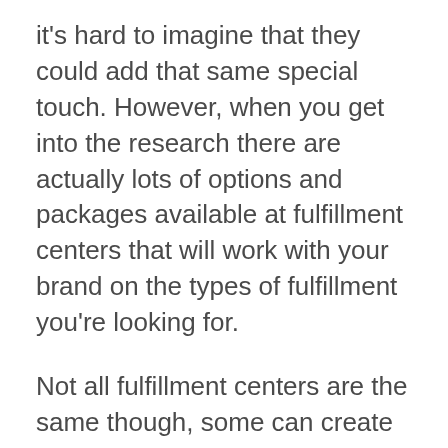it's hard to imagine that they could add that same special touch. However, when you get into the research there are actually lots of options and packages available at fulfillment centers that will work with your brand on the types of fulfillment you're looking for.
Not all fulfillment centers are the same though, some can create more custom programs than others, and most places are now working with small businesses to cater to the customer experience.
There are some great resources through Shopify to find fulfillment centers that are already integrated with the platform. Make sure